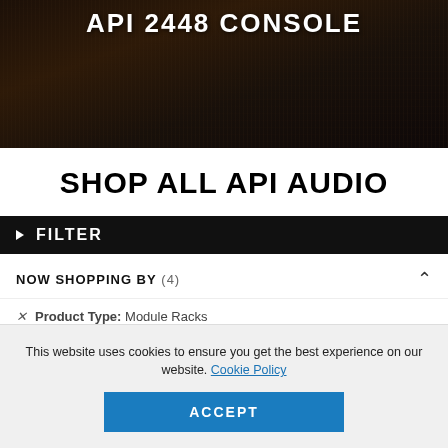[Figure (photo): Dark overhead photo of an API 2448 mixing console with the title 'API 2448 CONSOLE' overlaid in white bold text]
SHOP ALL API AUDIO
▶ FILTER
NOW SHOPPING BY (4)
× Product Type: Module Racks
This website uses cookies to ensure you get the best experience on our website. Cookie Policy
ACCEPT